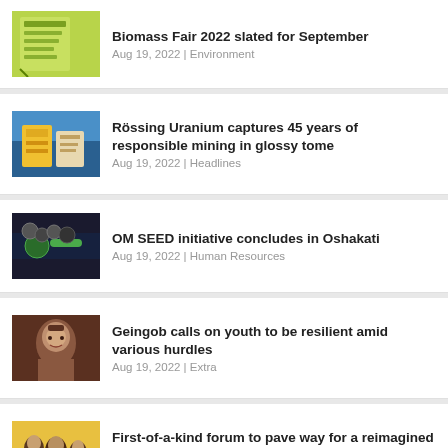Biomass Fair 2022 slated for September
Aug 19, 2022 | Environment
Rössing Uranium captures 45 years of responsible mining in glossy tome
Aug 19, 2022 | Headlines
OM SEED initiative concludes in Oshakati
Aug 19, 2022 | Human Resources
Geingob calls on youth to be resilient amid various hurdles
Aug 19, 2022 | Extra
First-of-a-kind forum to pave way for a reimagined aviation sector
Aug 19, 2022 | Wheels & Wings
Tshisekedi throws weight behind SADC